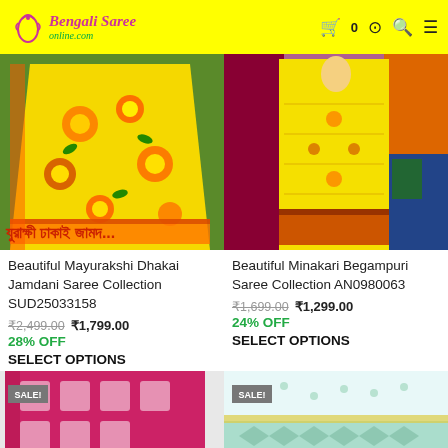Bengali Saree Online.com
[Figure (photo): Yellow floral Mayurakshi Dhakai Jamdani Saree with orange border, Bengali text overlay]
Beautiful Mayurakshi Dhakai Jamdani Saree Collection SUD25033158
₹2,499.00  ₹1,799.00
28% OFF
SELECT OPTIONS
[Figure (photo): Yellow Minakari Begampuri saree with decorative border, displayed hanging]
Beautiful Minakari Begampuri Saree Collection AN0980063
₹1,699.00  ₹1,299.00
24% OFF
SELECT OPTIONS
[Figure (photo): Pink saree with geometric pattern, SALE badge]
[Figure (photo): Light blue/white saree with pattern, SALE badge]